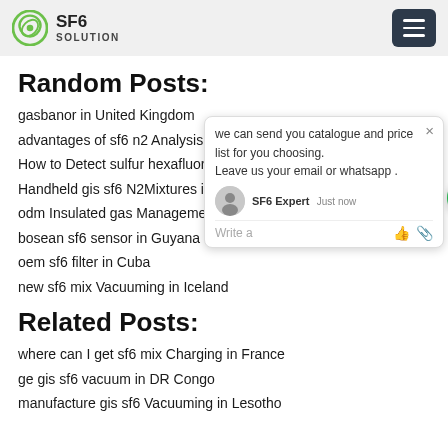SF6 SOLUTION
Random Posts:
gasbanor in United Kingdom
advantages of sf6 n2 Analysis in Africa
How to Detect sulfur hexafluoride contro…
Handheld gis sf6 N2Mixtures in Thailand…
odm Insulated gas Management in Taiw…
bosean sf6 sensor in Guyana
oem sf6 filter in Cuba
new sf6 mix Vacuuming in Iceland
Related Posts:
where can I get sf6 mix Charging in France
ge gis sf6 vacuum in DR Congo
manufacture gis sf6 Vacuuming in Lesotho